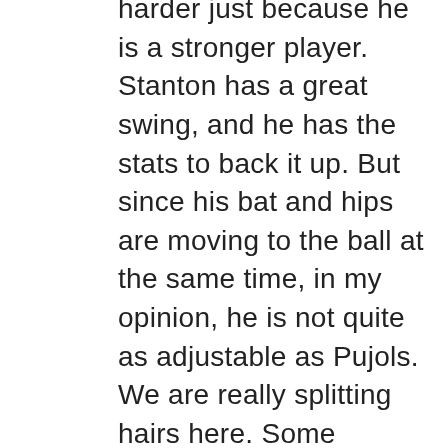harder just because he is a stronger player. Stanton has a great swing, and he has the stats to back it up. But since his bat and hips are moving to the ball at the same time, in my opinion, he is not quite as adjustable as Pujols. We are really splitting hairs here. Some players can get away with things because they have so much more talent and strength than others. I personally believe that Pujols gets more out of his ability than Stanton does. Ok, I know that is a bold statement and especially